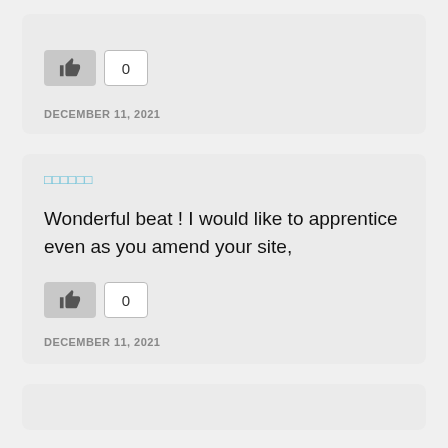0
DECEMBER 11, 2021
aaaaaaa
Wonderful beat ! I would like to apprentice even as you amend your site,
0
DECEMBER 11, 2021